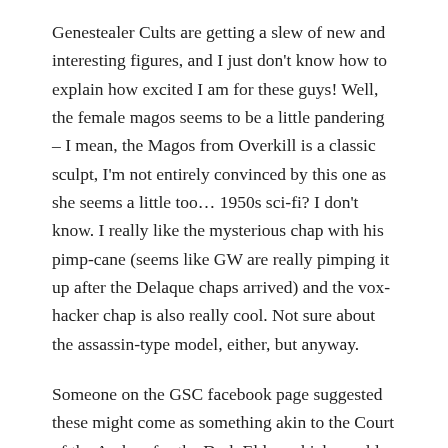Genestealer Cults are getting a slew of new and interesting figures, and I just don't know how to explain how excited I am for these guys! Well, the female magos seems to be a little pandering – I mean, the Magos from Overkill is a classic sculpt, I'm not entirely convinced by this one as she seems a little too… 1950s sci-fi? I don't know. I really like the mysterious chap with his pimp-cane (seems like GW are really pimping it up after the Delaque chaps arrived) and the vox-hacker chap is also really cool. Not sure about the assassin-type model, either, but anyway.
Someone on the GSC facebook page suggested these might come as something akin to the Court of the Archon for the Dark Eldar, which would make more